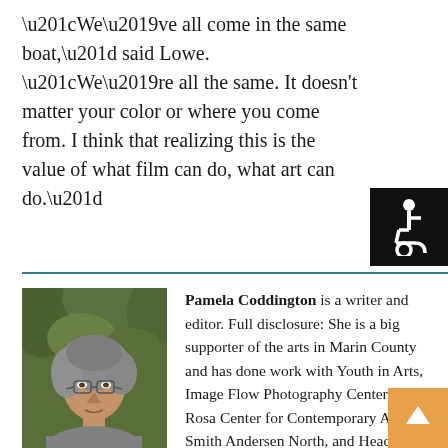“We’ve all come in the same boat,” said Lowe. “We’re all the same. It doesn’t matter your color or where you come from. I think that realizing this is the value of what film can do, what art can do.”
[Figure (photo): Accessibility wheelchair symbol icon, white on black background]
[Figure (photo): Headshot photo of Pamela Coddington, a woman with shoulder-length gray hair wearing glasses and a gray top, photographed outdoors with green foliage in the background]
Pamela Coddington is a writer and editor. Full disclosure: She is a big supporter of the arts in Marin County and has done work with Youth in Arts, Image Flow Photography Center, di Rosa Center for Contemporary Art, Smith Andersen North, and Headlands Center for the Arts. Pamela is a graduate of New York University with a B.A. in Art History, and holds a post-baccalaureate degree in writing from U.C. Berkeley.